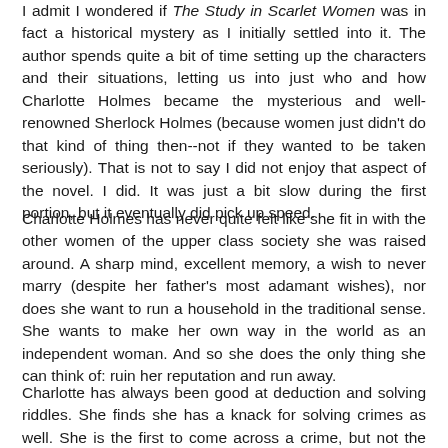I admit I wondered if The Study in Scarlet Women was in fact a historical mystery as I initially settled into it. The author spends quite a bit of time setting up the characters and their situations, letting us into just who and how Charlotte Holmes became the mysterious and well-renowned Sherlock Holmes (because women just didn't do that kind of thing then--not if they wanted to be taken seriously). That is not to say I did not enjoy that aspect of the novel. I did. It was just a bit slow during the first portion, but it eventually did pick up speed.
Charlotte Holmes has never quite felt like she fit in with the other women of the upper class society she was raised around. A sharp mind, excellent memory, a wish to never marry (despite her father's most adamant wishes), nor does she want to run a household in the traditional sense. She wants to make her own way in the world as an independent woman. And so she does the only thing she can think of: ruin her reputation and run away.
Charlotte has always been good at deduction and solving riddles. She finds she has a knack for solving crimes as well. She is the first to come across a crime, but not the woman paid